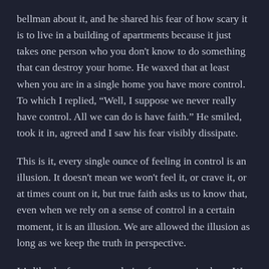bellman about it, and he shared his fear of how scary it is to live in a building of apartments because it just takes one person who you don't know to do something that can destroy your home. He waxed that at least when you are in a single home you have more control. To which I replied, “Well, I suppose we never really have control. All we can do is have faith.” He smiled, took it in, agreed and I saw his fear visibly dissipate.
This is it, every single ounce of feeling in control is an illusion. It doesn't mean we won't feel it, or crave it, or at times count on it, but true faith asks us to know that, even when we rely on a sense of control in a certain moment, it is an illusion. We are allowed the illusion as long as we keep the truth in perspective.
It’s like the fun one can derive from a magic show. We know it’s illusion, but it feels good, and can be a wonderful source of comfort because it helps us believe